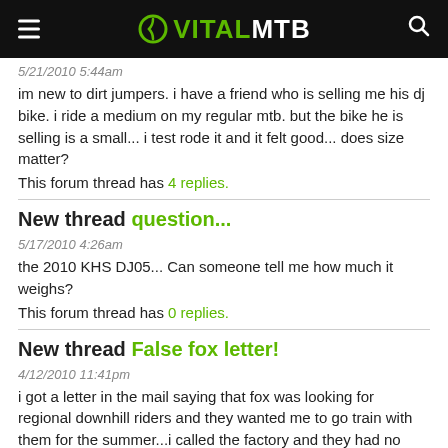VITALMTB
5/21/2010 5:44am
im new to dirt jumpers. i have a friend who is selling me his dj bike. i ride a medium on my regular mtb. but the bike he is selling is a small... i test rode it and it felt good... does size matter?
This forum thread has 4 replies.
New thread question...
5/17/2010 4:26am
the 2010 KHS DJ05... Can someone tell me how much it weighs?
This forum thread has 0 replies.
New thread False fox letter!
4/12/2010 11:41pm
i got a letter in the mail saying that fox was looking for regional downhill riders and they wanted me to go train with them for the summer...i called the factory and they had no idea what i was talking about and it was not from them.... anyone get this ... more »
This forum thread has 11 replies.